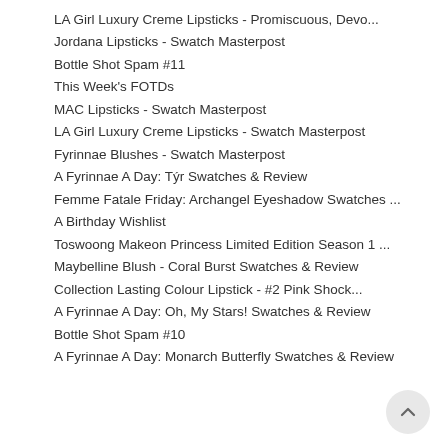LA Girl Luxury Creme Lipsticks - Promiscuous, Devo...
Jordana Lipsticks - Swatch Masterpost
Bottle Shot Spam #11
This Week's FOTDs
MAC Lipsticks - Swatch Masterpost
LA Girl Luxury Creme Lipsticks - Swatch Masterpost
Fyrinnae Blushes - Swatch Masterpost
A Fyrinnae A Day: Týr Swatches & Review
Femme Fatale Friday: Archangel Eyeshadow Swatches ...
A Birthday Wishlist
Toswoong Makeon Princess Limited Edition Season 1 ...
Maybelline Blush - Coral Burst Swatches & Review
Collection Lasting Colour Lipstick - #2 Pink Shock...
A Fyrinnae A Day: Oh, My Stars! Swatches & Review
Bottle Shot Spam #10
A Fyrinnae A Day: Monarch Butterfly Swatches & Review